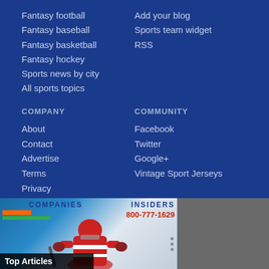Fantasy football
Fantasy baseball
Fantasy basketball
Fantasy hockey
Sports news by city
All sports topics
Add your blog
Sports team widget
RSS
COMPANY
COMMUNITY
About
Contact
Advertise
Terms
Privacy
Facebook
Twitter
Google+
Vintage Sport Jerseys
© 2022 SPORTSOVERDOSE.COM All rights reserved.
[Figure (photo): Bottom banner showing a hockey player in red and white uniform, with COMPANIES and INSIDERS labels, phone number 800-777-1629, orange and green bars, and a Top Articles label overlay]